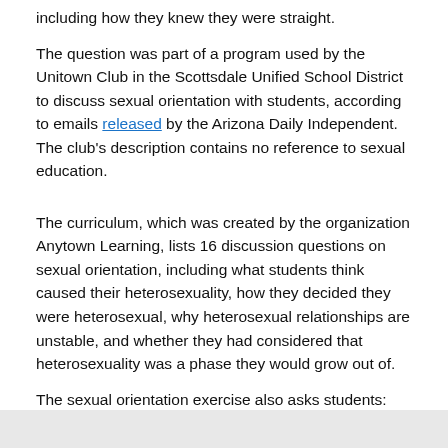including how they knew they were straight.
The question was part of a program used by the Unitown Club in the Scottsdale Unified School District to discuss sexual orientation with students, according to emails released by the Arizona Daily Independent. The club's description contains no reference to sexual education.
The curriculum, which was created by the organization Anytown Learning, lists 16 discussion questions on sexual orientation, including what students think caused their heterosexuality, how they decided they were heterosexual, why heterosexual relationships are unstable, and whether they had considered that heterosexuality was a phase they would grow out of.
The sexual orientation exercise also asks students: "Considering the menace of overpopulation, how could the human race survive if everyone were heterosexual?"